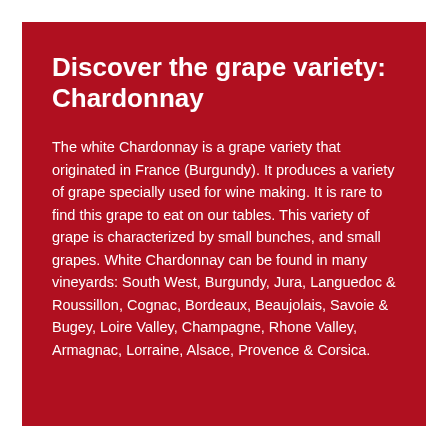Discover the grape variety: Chardonnay
The white Chardonnay is a grape variety that originated in France (Burgundy). It produces a variety of grape specially used for wine making. It is rare to find this grape to eat on our tables. This variety of grape is characterized by small bunches, and small grapes. White Chardonnay can be found in many vineyards: South West, Burgundy, Jura, Languedoc & Roussillon, Cognac, Bordeaux, Beaujolais, Savoie & Bugey, Loire Valley, Champagne, Rhone Valley, Armagnac, Lorraine, Alsace, Provence & Corsica.